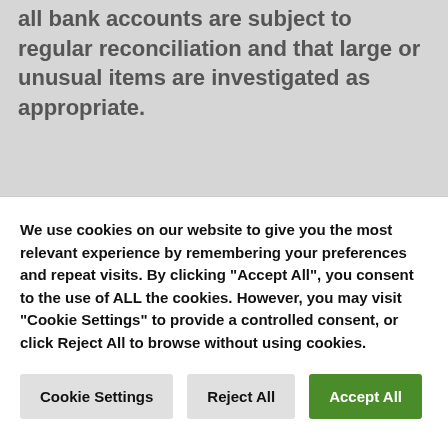all bank accounts are subject to regular reconciliation and that large or unusual items are investigated as appropriate.
All payments drawn on behalf of the College and its subsidiary undertakings and Joint Ventures (JV) require authorised signatures in accordance with the bank mandate, delegated authorities and the Treasury Management Policy. All electronic transfers on behalf of the College are by Payment Approved Signing
We use cookies on our website to give you the most relevant experience by remembering your preferences and repeat visits. By clicking "Accept All", you consent to the use of ALL the cookies. However, you may visit "Cookie Settings" to provide a controlled consent, or click Reject All to browse without using cookies.